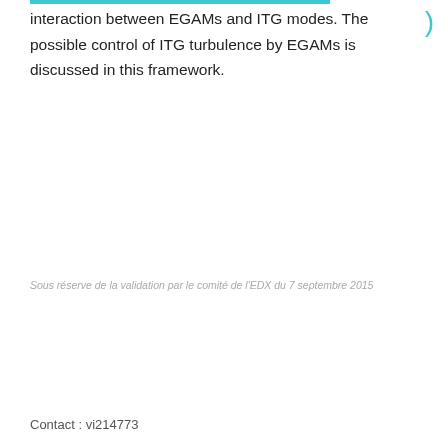interaction between EGAMs and ITG modes. The possible control of ITG turbulence by EGAMs is discussed in this framework.
Sous réserve de la validation par le comité de l'EDX du 7 septembre 2015
Contact : vi214773